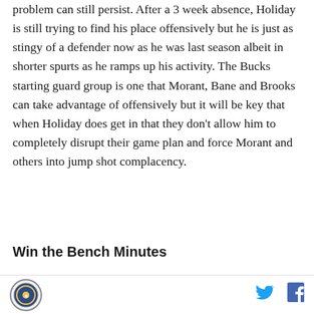problem can still persist. After a 3 week absence, Holiday is still trying to find his place offensively but he is just as stingy of a defender now as he was last season albeit in shorter spurts as he ramps up his activity. The Bucks starting guard group is one that Morant, Bane and Brooks can take advantage of offensively but it will be key that when Holiday does get in that they don't allow him to completely disrupt their game plan and force Morant and others into jump shot complacency.
Win the Bench Minutes
[Figure (photo): Dark photo strip showing what appears to be a basketball arena or court scene, partially visible at the bottom of the page]
Logo icon, Twitter share button, Facebook share button